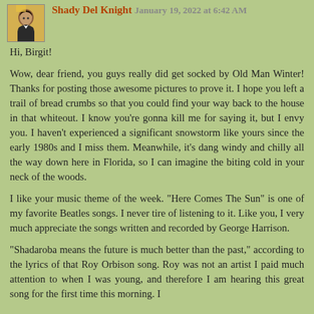Shady Del Knight  January 19, 2022 at 6:42 AM
Hi, Birgit!
Wow, dear friend, you guys really did get socked by Old Man Winter! Thanks for posting those awesome pictures to prove it. I hope you left a trail of bread crumbs so that you could find your way back to the house in that whiteout. I know you're gonna kill me for saying it, but I envy you. I haven't experienced a significant snowstorm like yours since the early 1980s and I miss them. Meanwhile, it's dang windy and chilly all the way down here in Florida, so I can imagine the biting cold in your neck of the woods.
I like your music theme of the week. "Here Comes The Sun" is one of my favorite Beatles songs. I never tire of listening to it. Like you, I very much appreciate the songs written and recorded by George Harrison.
"Shadaroba means the future is much better than the past," according to the lyrics of that Roy Orbison song. Roy was not an artist I paid much attention to when I was young, and therefore I am hearing this great song for the first time this morning. I